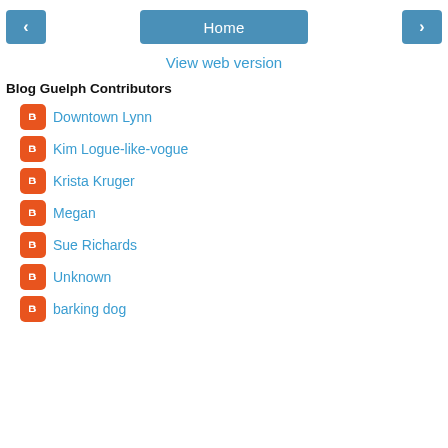< Home >
View web version
Blog Guelph Contributors
Downtown Lynn
Kim Logue-like-vogue
Krista Kruger
Megan
Sue Richards
Unknown
barking dog